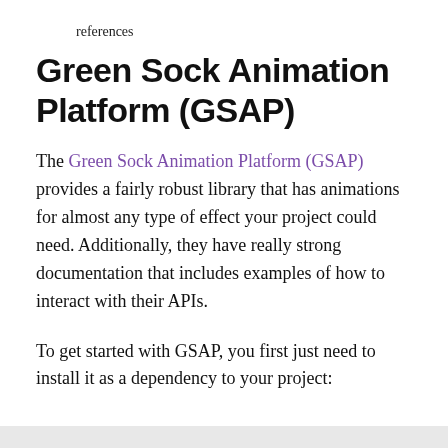references
Green Sock Animation Platform (GSAP)
The Green Sock Animation Platform (GSAP) provides a fairly robust library that has animations for almost any type of effect your project could need. Additionally, they have really strong documentation that includes examples of how to interact with their APIs.
To get started with GSAP, you first just need to install it as a dependency to your project: